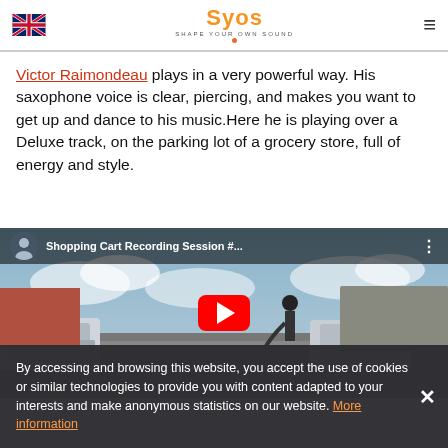SVOS — Shape Your Own Sound (logo and navigation header)
Victor Raimondeau plays in a very powerful way. His saxophone voice is clear, piercing, and makes you want to get up and dance to his music.Here he is playing over a Deluxe track, on the parking lot of a grocery store, full of energy and style.
[Figure (screenshot): YouTube video embed showing 'Shopping Cart Recording Session #...' with a musician playing saxophone in a grocery store parking lot. A red YouTube play button is visible in the center.]
By accessing and browsing this website, you accept the use of cookies or similar technologies to provide you with content adapted to your interests and make anonymous statistics on our website. More information